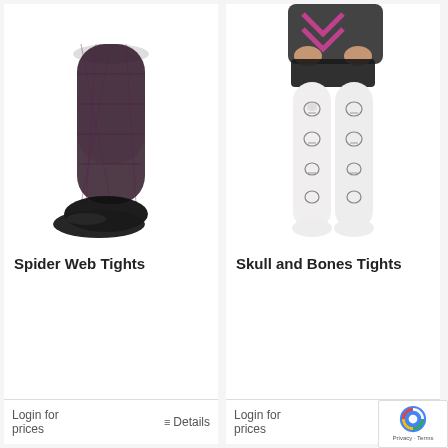[Figure (photo): Close-up of legs wearing black spider web patterned tights with black flat shoes]
Spider Web Tights
Login for prices
≡ Details
[Figure (photo): Legs wearing white tights with skull and bones pattern, person wearing dark shorts]
Skull and Bones Tights
Login for prices
≡ De...